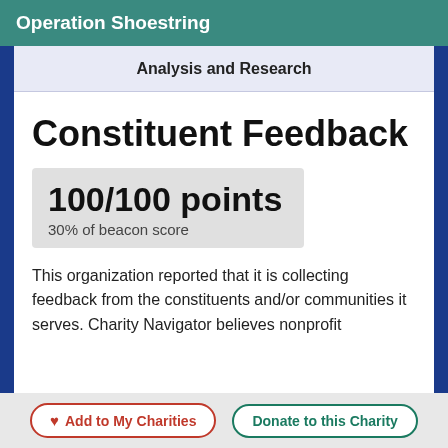Operation Shoestring
Analysis and Research
Constituent Feedback
100/100 points
30% of beacon score
This organization reported that it is collecting feedback from the constituents and/or communities it serves. Charity Navigator believes nonprofit
Add to My Charities   Donate to this Charity